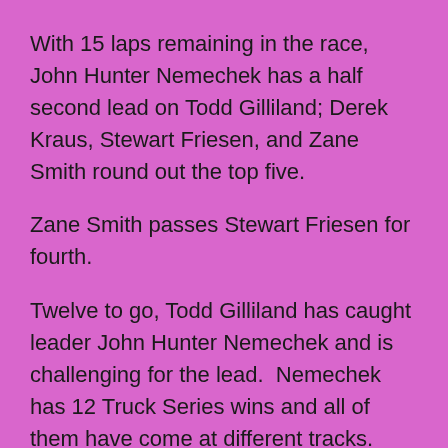With 15 laps remaining in the race, John Hunter Nemechek has a half second lead on Todd Gilliland; Derek Kraus, Stewart Friesen, and Zane Smith round out the top five.
Zane Smith passes Stewart Friesen for fourth.
Twelve to go, Todd Gilliland has caught leader John Hunter Nemechek and is challenging for the lead.  Nemechek has 12 Truck Series wins and all of them have come at different tracks.
Ten to go, Todd Gilliland battles with John hunter Nemechek for the lead with Gilliland taking the spot as Jack Wood brings out the caution flag.  There is